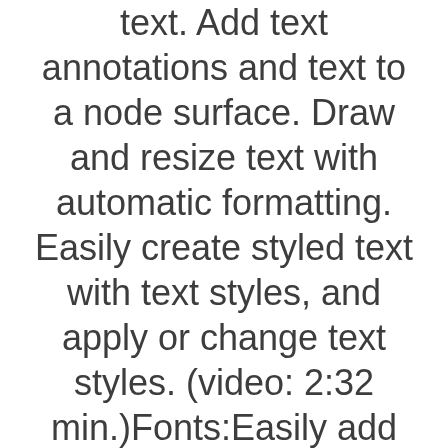text. Add text annotations and text to a node surface. Draw and resize text with automatic formatting. Easily create styled text with text styles, and apply or change text styles. (video: 2:32 min.)Fonts:Easily add and edit text fonts, including TrueType, OpenType, and PostScript fonts. Easily change 2be273e24d